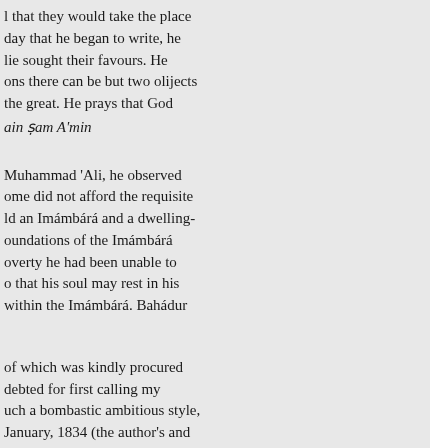l that they would take the place day that he began to write, he lie sought their favours. He ons there can be but two olijects the great. He prays that God
ain sam A'min
Muhammad 'Ali, he observed ome did not afford the requisite ld an Imámbárá and a dwelling- oundations of the Imámbárá overty he had been unable to o that his soul may rest in his within the Imámbárá. Bahádur
of which was kindly procured debted for first calling my uch a bombastic ambitious style, January, 1834 (the author's and is of older date, or that et with elsewhere. The MS. o picked up twenty-six leaves of